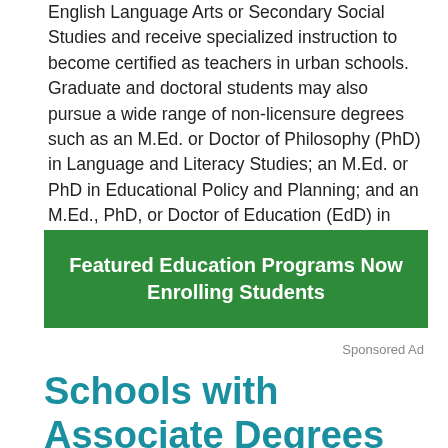English Language Arts or Secondary Social Studies and receive specialized instruction to become certified as teachers in urban schools. Graduate and doctoral students may also pursue a wide range of non-licensure degrees such as an M.Ed. or Doctor of Philosophy (PhD) in Language and Literacy Studies; an M.Ed. or PhD in Educational Policy and Planning; and an M.Ed., PhD, or Doctor of Education (EdD) in Higher Education Leadership.
[Figure (infographic): Green banner advertisement reading 'Featured Education Programs Now Enrolling Students']
Sponsored Ad
Schools with Associate Degrees in Education